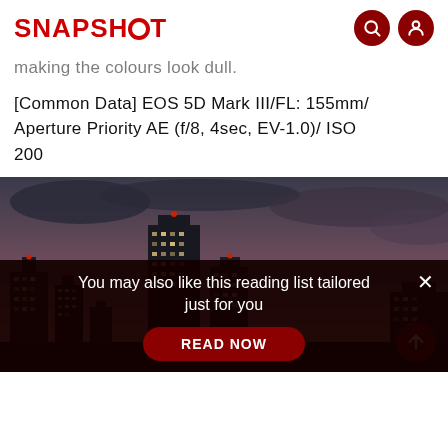SNAPSHOT
making the colours look dull.
[Common Data] EOS 5D Mark III/FL: 155mm/ Aperture Priority AE (f/8, 4sec, EV-1.0)/ ISO 200
[Figure (photo): Cityscape at dusk showing illuminated high-rise buildings against a dark cloudy sky with reddish-pink horizon glow]
You may also like this reading list tailored just for you
READ NOW